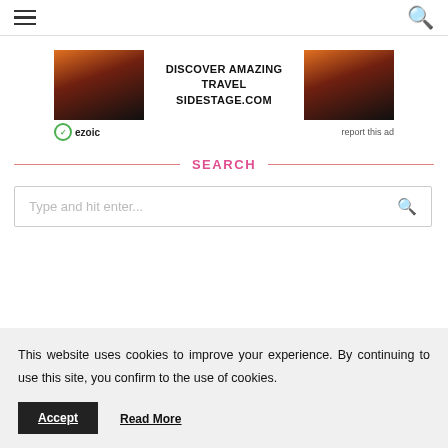Navigation header with hamburger menu and search icon
[Figure (other): Advertisement banner: DISCOVER AMAZING TRAVEL SIDESTAGE.COM with two travel sunset images on left and right, ezoic logo at bottom left, report this ad at bottom right]
SEARCH
Type and hit enter...
This website uses cookies to improve your experience. By continuing to use this site, you confirm to the use of cookies.
Accept   Read More